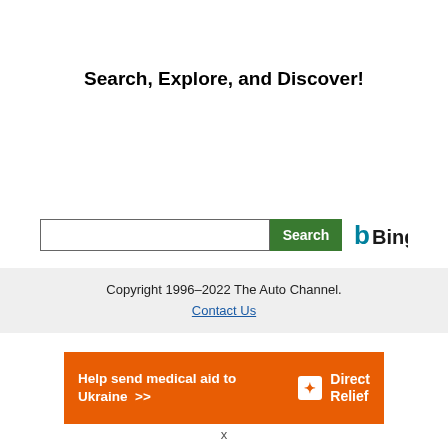Search, Explore, and Discover!
[Figure (screenshot): Bing search bar with text input field and green Search button, with Bing logo (teal 'b' and 'Bing' text) to the right]
Copyright 1996–2022 The Auto Channel.
Contact Us
[Figure (infographic): Orange banner advertisement reading 'Help send medical aid to Ukraine >>' with Direct Relief logo (white box icon and 'DirectRelief' text) on the right]
x